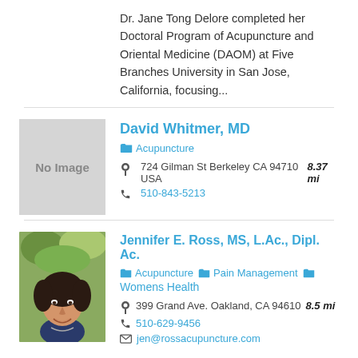Dr. Jane Tong Delore completed her Doctoral Program of Acupuncture and Oriental Medicine (DAOM) at Five Branches University in San Jose, California, focusing...
David Whitmer, MD
Acupuncture
724 Gilman St Berkeley CA 94710 USA 8.37 mi
510-843-5213
[Figure (photo): No Image placeholder - grey box]
Jennifer E. Ross, MS, L.Ac., Dipl. Ac.
Acupuncture  Pain Management  Womens Health
399 Grand Ave. Oakland, CA 94610  8.5 mi
510-629-9456
jen@rossacupuncture.com
[Figure (photo): Photo of Jennifer E. Ross, a woman with short dark hair smiling]